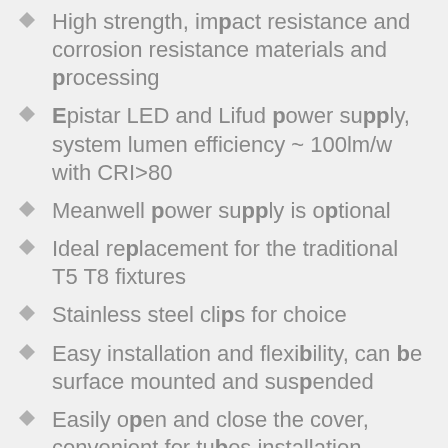High strength, impact resistance and corrosion resistance materials and processing
Epistar LED and Lifud power supply, system lumen efficiency ~ 100lm/w with CRI>80
Meanwell power supply is optional
Ideal replacement for the traditional T5 T8 fixtures
Stainless steel clips for choice
Easy installation and flexibility, can be surface mounted and suspended
Easily open and close the cover, convenient for tubes installation